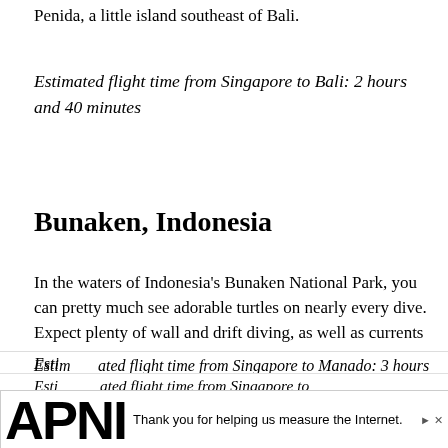Penida, a little island southeast of Bali.
Estimated flight time from Singapore to Bali: 2 hours and 40 minutes
Bunaken, Indonesia
In the waters of Indonesia's Bunaken National Park, you can pretty much see adorable turtles on nearly every dive. Expect plenty of wall and drift diving, as well as currents that are rather unpredictable. While admiring the gorgeous sea fans and schools of fish, you need to keep an eye on that dive computer and be sure to watch your depth.
Estimated flight time from Singapore to Manado: 3 hours 30
[Figure (other): APNIC advertisement banner at bottom of page with logo text and 'Thank you for helping us measure the Internet.']